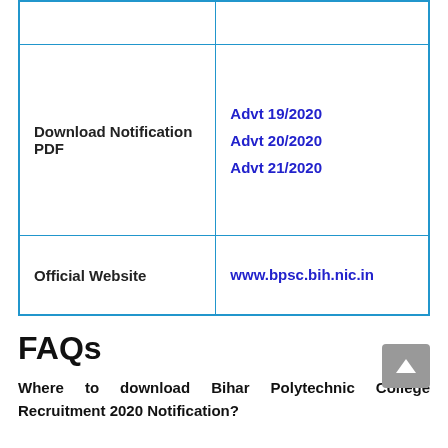|  |  |
| Download Notification PDF | Advt 19/2020
Advt 20/2020
Advt 21/2020 |
| Official Website | www.bpsc.bih.nic.in |
FAQs
Where to download Bihar Polytechnic College Recruitment 2020 Notification?